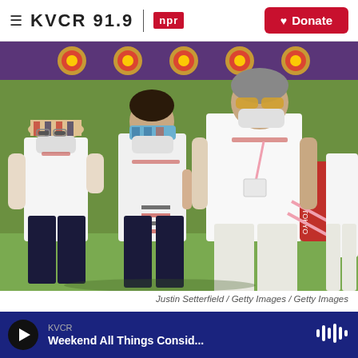≡ KVCR 91.9 npr ♥ Donate
[Figure (photo): Svetlana Gomboeva being assisted by teammates/staff at the Tokyo Olympics archery venue, wearing white uniforms and masks, with archery targets visible in the background.]
Justin Setterfield / Getty Images / Getty Images
Svetlana Gomboeva is treated for heat exhaustion in the women's
KVCR
Weekend All Things Consid...